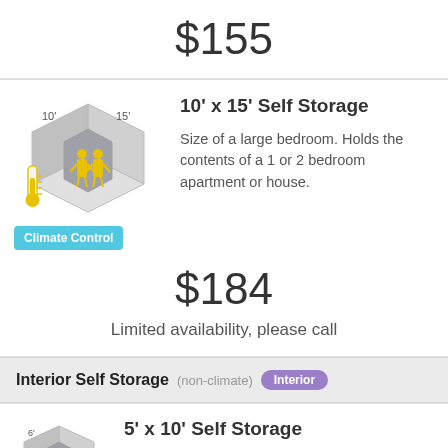$155
10' x 15' Self Storage
Size of a large bedroom. Holds the contents of a 1 or 2 bedroom apartment or house.
Climate Control
$184
Limited availability, please call
Interior Self Storage (non-climate) Interior
5' x 10' Self Storage